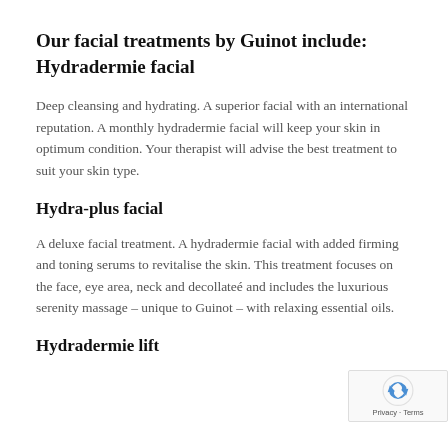Our facial treatments by Guinot include: Hydradermie facial
Deep cleansing and hydrating. A superior facial with an international reputation. A monthly hydradermie facial will keep your skin in optimum condition. Your therapist will advise the best treatment to suit your skin type.
Hydra-plus facial
A deluxe facial treatment. A hydradermie facial with added firming and toning serums to revitalise the skin. This treatment focuses on the face, eye area, neck and decollateé and includes the luxurious serenity massage – unique to Guinot – with relaxing essential oils.
Hydradermie lift